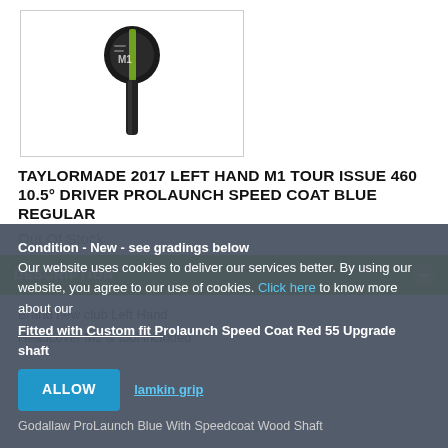[Figure (photo): TaylorMade driver headcover product photo on white background]
TAYLORMADE 2017 LEFT HAND M1 TOUR ISSUE 460 10.5° DRIVER PROLAUNCH SPEED COAT BLUE REGULAR
Out Of Stock
DESCRIPTION
Brand new club Left Hand
Headcover M2 & tool included
Condition - New - see gradings below
Fitted with Custom fit Prolaunch Speed Coat Red 55 Upgrade shaft
lamkin grip
Godallaw ProLaunch Blue With Speedcoat Wood Shaft